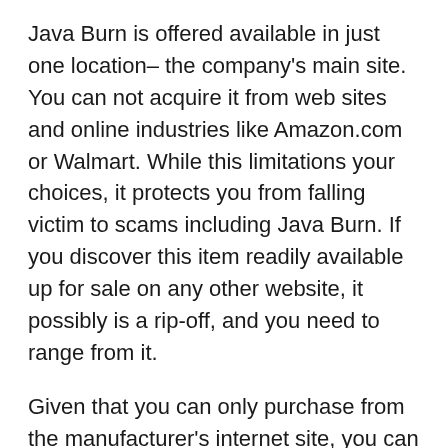Java Burn is offered available in just one location– the company's main site. You can not acquire it from web sites and online industries like Amazon.com or Walmart. While this limitations your choices, it protects you from falling victim to scams including Java Burn. If you discover this item readily available up for sale on any other website, it possibly is a rip-off, and you need to range from it.
Given that you can only purchase from the manufacturer's internet site, you can save a lot of money by removing brokers, middlemans, and also go-betweens. You can additionally ensure getting the real deal when acquiring Java Burn directly from the